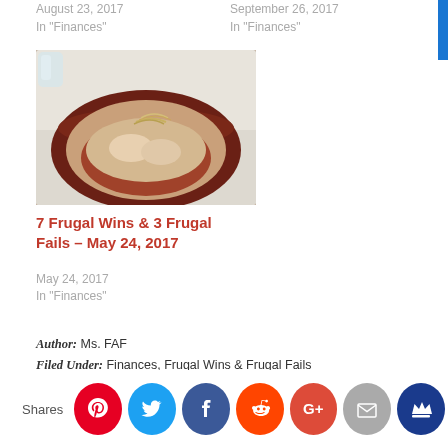August 23, 2017
In "Finances"
September 26, 2017
In "Finances"
[Figure (photo): A bowl of food (noodles/dumplings with sauce and garnish) on a plate]
7 Frugal Wins & 3 Frugal Fails – May 24, 2017
May 24, 2017
In "Finances"
Author: Ms. FAF
Filed Under: Finances, Frugal Wins & Frugal Fails
[Figure (infographic): Social share buttons: Pinterest, Twitter, Facebook, Reddit, Google+, Email, Crown]